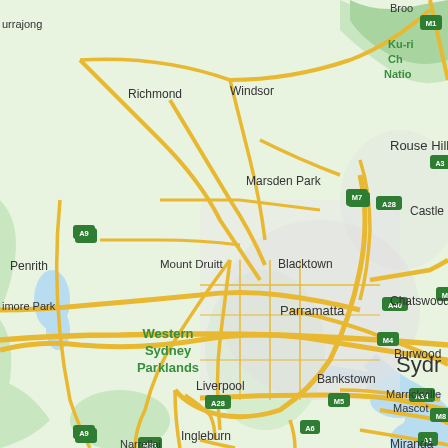[Figure (map): Google Maps view of Greater Sydney region, Australia, showing suburbs including Richmond, Windsor, Rouse Hill, Marsden Park, Castle Hill, Penrith, Mount Druitt, Blacktown, Western Sydney Parklands, Parramatta, Burwood, Chatswood, Liverpool, Bankstown, Marrickville, Mascot, Ingleburn, Miranda, and Sydney CBD. Road network shown with yellow/gold lines for major roads and motorways labeled M1, M4, M5, M7, M8, M31, A1, A6, A9, A28, A34, A40. Green areas represent parks and national parks. Blue areas represent waterways.]